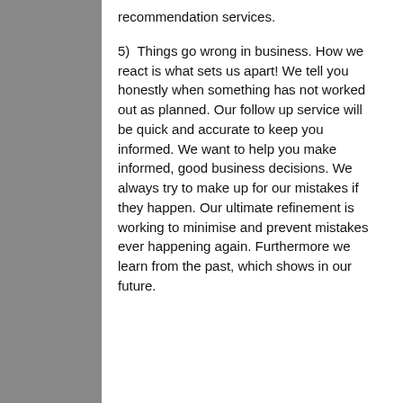recommendation services.
5)  Things go wrong in business. How we react is what sets us apart! We tell you honestly when something has not worked out as planned. Our follow up service will be quick and accurate to keep you informed. We want to help you make informed, good business decisions. We always try to make up for our mistakes if they happen. Our ultimate refinement is working to minimise and prevent mistakes ever happening again. Furthermore we learn from the past, which shows in our future.